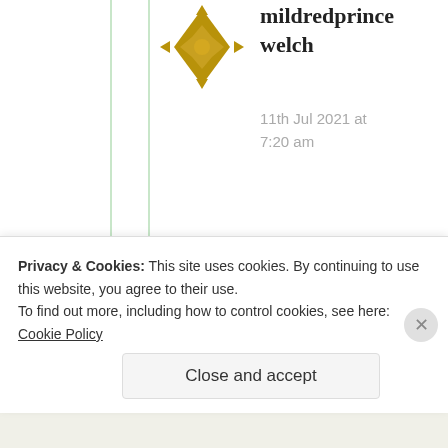mildredprince welch
11th Jul 2021 at 7:20 am
Suma, I have given you a pass but you continue to love a moment of publicity than your secrets that may ruin you! You either delete this post
Privacy & Cookies: This site uses cookies. By continuing to use this website, you agree to their use.
To find out more, including how to control cookies, see here: Cookie Policy
Close and accept